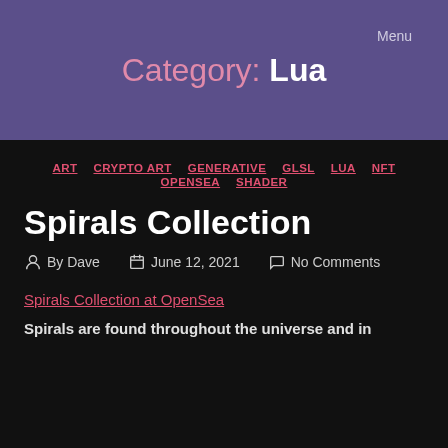Menu
Category: Lua
ART  CRYPTO ART  GENERATIVE  GLSL  LUA  NFT  OPENSEA  SHADER
Spirals Collection
By Dave  June 12, 2021  No Comments
Spirals Collection at OpenSea
Spirals are found throughout the universe and in